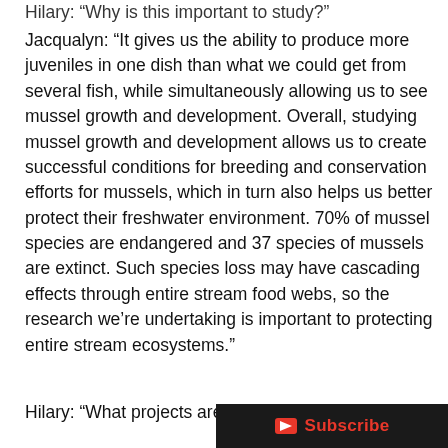Hilary: “Why is this important to study?”
Jacqualyn: “It gives us the ability to produce more juveniles in one dish than what we could get from several fish, while simultaneously allowing us to see mussel growth and development. Overall, studying mussel growth and development allows us to create successful conditions for breeding and conservation efforts for mussels, which in turn also helps us better protect their freshwater environment. 70% of mussel species are endangered and 37 species of mussels are extinct. Such species loss may have cascading effects through entire stream food webs, so the research we’re undertaking is important to protecting entire stream ecosystems.”
Hilary: “What projects are you wo…”